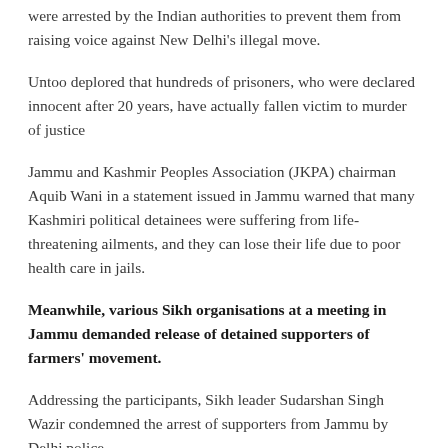were arrested by the Indian authorities to prevent them from raising voice against New Delhi's illegal move.
Untoo deplored that hundreds of prisoners, who were declared innocent after 20 years, have actually fallen victim to murder of justice
Jammu and Kashmir Peoples Association (JKPA) chairman Aquib Wani in a statement issued in Jammu warned that many Kashmiri political detainees were suffering from life-threatening ailments, and they can lose their life due to poor health care in jails.
Meanwhile, various Sikh organisations at a meeting in Jammu demanded release of detained supporters of farmers' movement.
Addressing the participants, Sikh leader Sudarshan Singh Wazir condemned the arrest of supporters from Jammu by Delhi police.